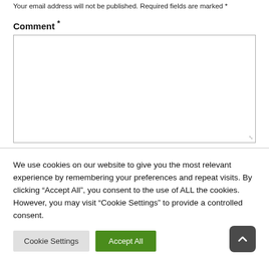Your email address will not be published. Required fields are marked *
Comment *
[Figure (screenshot): Empty comment text area input box with resize handle]
We use cookies on our website to give you the most relevant experience by remembering your preferences and repeat visits. By clicking “Accept All”, you consent to the use of ALL the cookies. However, you may visit "Cookie Settings" to provide a controlled consent.
[Figure (screenshot): Cookie Settings button (grey) and Accept All button (green), with a dark rounded scroll-to-top arrow button on the right]